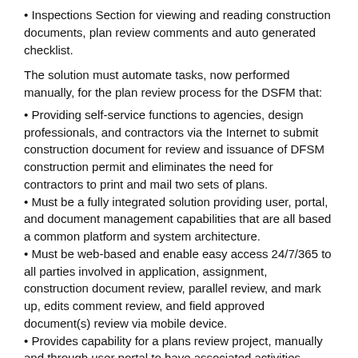• Inspections Section for viewing and reading construction documents, plan review comments and auto generated checklist.
The solution must automate tasks, now performed manually, for the plan review process for the DSFM that:
• Providing self-service functions to agencies, design professionals, and contractors via the Internet to submit construction document for review and issuance of DFSM construction permit and eliminates the need for contractors to print and mail two sets of plans.
• Must be a fully integrated solution providing user, portal, and document management capabilities that are all based a common platform and system architecture.
• Must be web-based and enable easy access 24/7/365 to all parties involved in application, assignment, construction document review, parallel review, and mark up, edits comment review, and field approved document(s) review via mobile device.
• Provides capability for a plans review project, manually and through user portal to have associated activities added over the life of the review. For example, revisions, shop drawings, site plan. Activities have the same capabilities as the parent